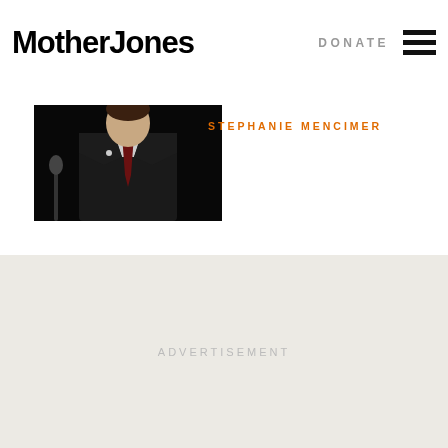Mother Jones | DONATE
[Figure (photo): Man in dark suit with red tie speaking at a microphone/podium, photo cropped to show upper body]
STEPHANIE MENCIMER
ADVERTISEMENT